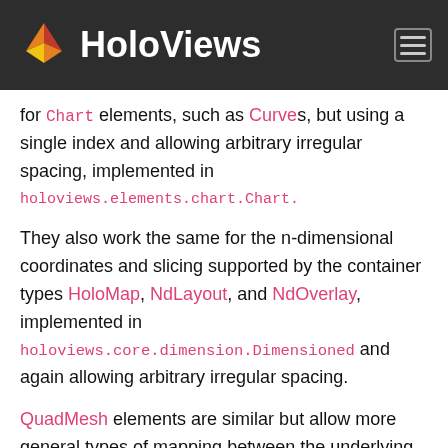HoloViews
for Chart elements, such as Curves, but using a single index and allowing arbitrary irregular spacing, implemented in holoviews.elements.chart.Chart.
They also work the same for the n-dimensional coordinates and slicing supported by the container types HoloMap, NdLayout, and NdOverlay, implemented in holoviews.core.dimension.Dimensioned and again allowing arbitrary irregular spacing.
QuadMesh elements are similar but allow more general types of mapping between the underlying array and the continuous space, with arbitrary spacing along each of the axes or even over the entire array. See the QuadMesh element for more details.
Together, these powerful continuous coordinate indexing and